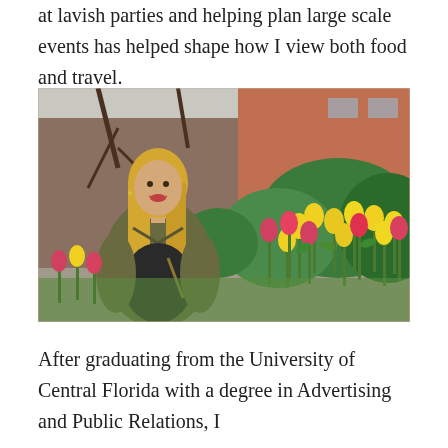at lavish parties and helping plan large scale events has helped shape how I view both food and travel.
[Figure (photo): A smiling blonde woman in an olive green jacket seated in front of a colorful garden of yellow and red/pink tulips in an urban setting.]
After graduating from the University of Central Florida with a degree in Advertising and Public Relations, I moved to Public Relations at New York City for the...